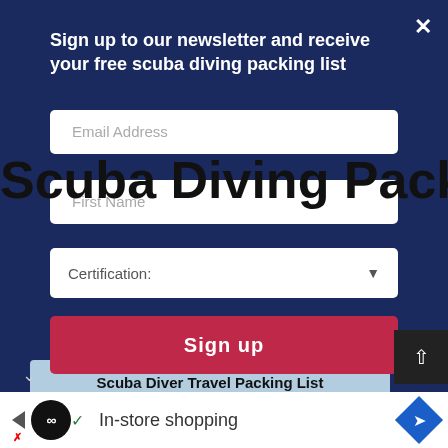Sign up to our newsletter and receive your free scuba diving packing list
Email Address
Scuba Diving Packing List
First Name
Certification:
Laminate it. Go diving.
Sign up
[Figure (screenshot): Scuba Diver Travel Packing List preview image showing a table with essentials and non-diving clothing columns]
In-store shopping